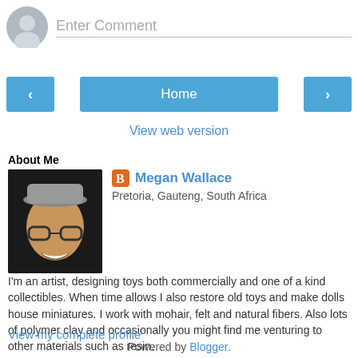[Figure (screenshot): Comment input field with avatar circle and 'Enter Comment' placeholder text]
[Figure (screenshot): Navigation bar with left arrow button, Home button, and right arrow button]
View web version
About Me
[Figure (photo): Profile photo of Megan Wallace, a woman smiling, wearing glasses and a cap]
Megan Wallace
Pretoria, Gauteng, South Africa
I'm an artist, designing toys both commercially and one of a kind collectibles. When time allows I also restore old toys and make dolls house miniatures. I work with mohair, felt and natural fibers. Also lots of polymer clay and occasionally you might find me venturing to other materials such as resin.
View my complete profile
Powered by Blogger.